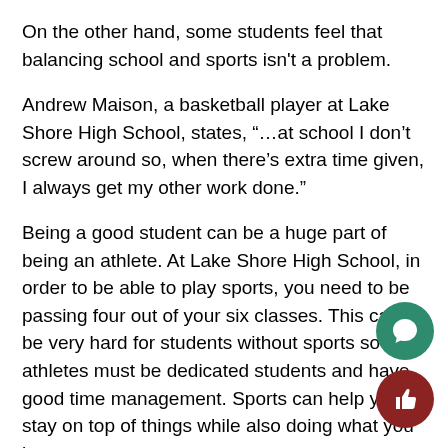On the other hand, some students feel that balancing school and sports isn't a problem.
Andrew Maison, a basketball player at Lake Shore High School, states, “…at school I don’t screw around so, when there’s extra time given, I always get my other work done.”
Being a good student can be a huge part of being an athlete. At Lake Shore High School, in order to be able to play sports, you need to be passing four out of your six classes. This can be very hard for students without sports so athletes must be dedicated students and have good time management. Sports can help you stay on top of things while also doing what you love.
In addition, sports can be good for students because the distraction. This can get their mind off many things they tend to worry about and help them cope through